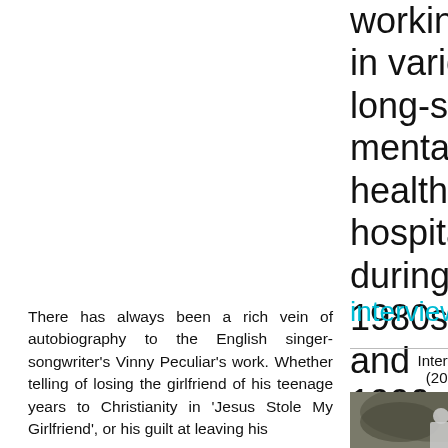working in various long-stay mental health hospitals during the 1980s and 1990s
interviews
Interview (2022)
[Figure (photo): Black and white photograph of a person outdoors among trees]
There has always been a rich vein of autobiography to the English singer-songwriter's Vinny Peculiar's work. Whether telling of losing the girlfriend of his teenage years to Christianity in 'Jesus Stole My Girlfriend', or his guilt at leaving his